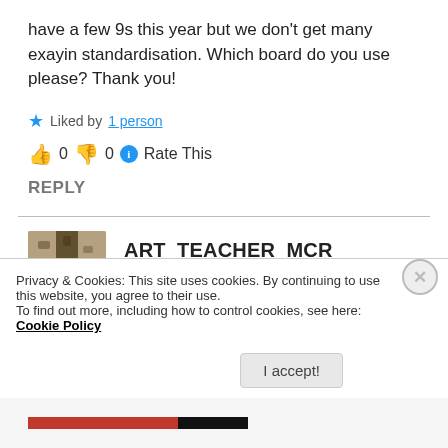have a few 9s this year but we don't get many exayin standardisation. Which board do you use please? Thank you!
★ Liked by 1 person
👍 0 👎 0 ℹ Rate This
REPLY
[Figure (photo): Avatar image of commenter ART_TEACHER_MCR showing a camouflage-patterned cross/figure shape]
ART_TEACHER_MCR
December 7, 2021 at 5:53 pm
Privacy & Cookies: This site uses cookies. By continuing to use this website, you agree to their use.
To find out more, including how to control cookies, see here: Cookie Policy
I accept!